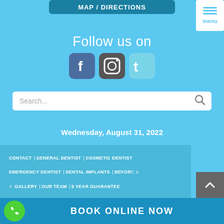[Figure (screenshot): MAP / DIRECTIONS button in teal/dark blue]
[Figure (screenshot): Hamburger menu button with 'menu' label in white box top right]
Follow us on
[Figure (logo): Facebook, Instagram, and Twitter social media icons]
[Figure (screenshot): Search input field with search icon]
Wednesday, August 31, 2022
CONTACT | GENERAL DENTIST | COSMETIC DENTIST | EMERGENCY DENTIST | DENTAL IMPLANTS | BEFORE & AFTER GALLERY | OUR TEAM | 5 YEAR GUARANTEE
[Figure (screenshot): BOOK ONLINE NOW button bar with green phone icon]